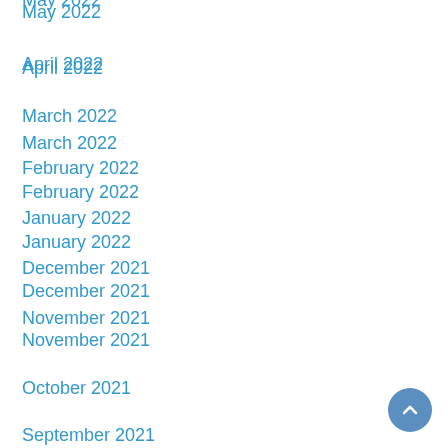May 2022
April 2022
March 2022
February 2022
January 2022
December 2021
November 2021
October 2021
September 2021
August 2021
July 2021
June 2021
January 2021
December 2020